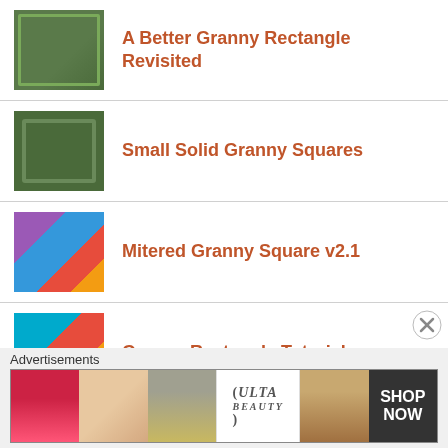A Better Granny Rectangle Revisited
Small Solid Granny Squares
Mitered Granny Square v2.1
Granny Rectangle Tutorial
Log Cabin Granny Square
Mitered Granny Square Pict...
Advertisements
[Figure (screenshot): ULTA Beauty advertisement banner with makeup imagery and SHOP NOW call-to-action]